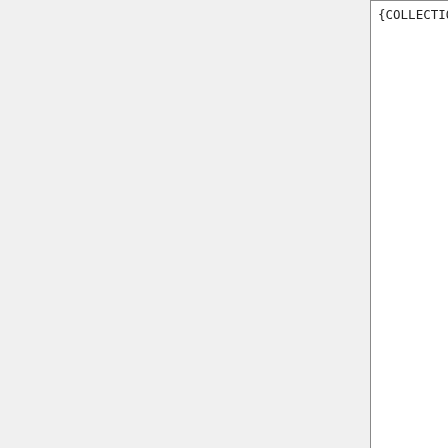| Key | Description |
| --- | --- |
| {COLLECTION}.subset | Used to only ou subset output. include lonMa and la NOTE: appea downl directo HISTO |
| {COLLECTION}.fields | Paired strings diagno and its gridded compo written |